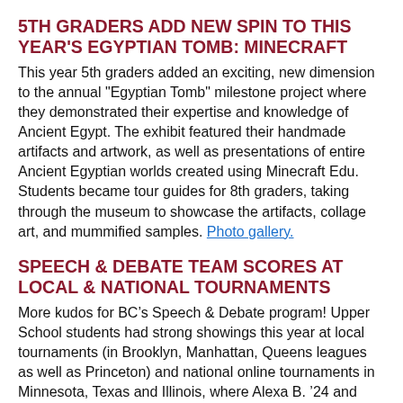5TH GRADERS ADD NEW SPIN TO THIS YEAR'S EGYPTIAN TOMB: MINECRAFT
This year 5th graders added an exciting, new dimension to the annual "Egyptian Tomb" milestone project where they demonstrated their expertise and knowledge of Ancient Egypt. The exhibit featured their handmade artifacts and artwork, as well as presentations of entire Ancient Egyptian worlds created using Minecraft Edu. Students became tour guides for 8th graders, taking through the museum to showcase the artifacts, collage art, and mummified samples. Photo gallery.
SPEECH & DEBATE TEAM SCORES AT LOCAL & NATIONAL TOURNAMENTS
More kudos for BC's Speech & Debate program! Upper School students had strong showings this year at local tournaments (in Brooklyn, Manhattan, Queens leagues as well as Princeton) and national online tournaments in Minnesota, Texas and Illinois, where Alexa B. '24 and Oliver K. '24 represented BC. Special congrats to Daniela H. '25 (pictured) who earned the team's first full qualification for the State Championship tournament which will take place in April.